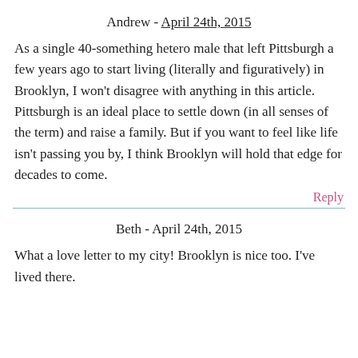Andrew - April 24th, 2015
As a single 40-something hetero male that left Pittsburgh a few years ago to start living (literally and figuratively) in Brooklyn, I won't disagree with anything in this article. Pittsburgh is an ideal place to settle down (in all senses of the term) and raise a family. But if you want to feel like life isn't passing you by, I think Brooklyn will hold that edge for decades to come.
Reply
Beth - April 24th, 2015
What a love letter to my city! Brooklyn is nice too. I've lived there.